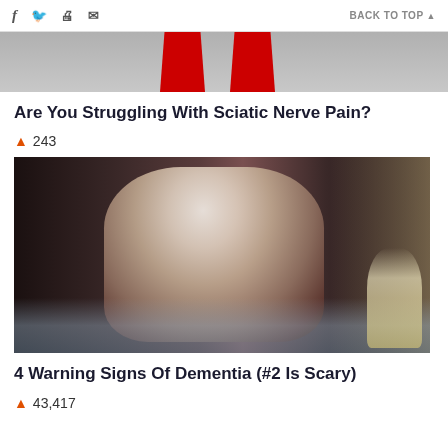f  social icons  BACK TO TOP
[Figure (photo): Partial top view of a health article image showing red shapes on grey background]
Are You Struggling With Sciatic Nerve Pain?
🔥 243
[Figure (photo): An elderly woman in a floral robe sitting on the edge of a bed, hunched over, in a dimly lit bedroom with a lamp and window visible]
4 Warning Signs Of Dementia (#2 Is Scary)
🔥 43,417